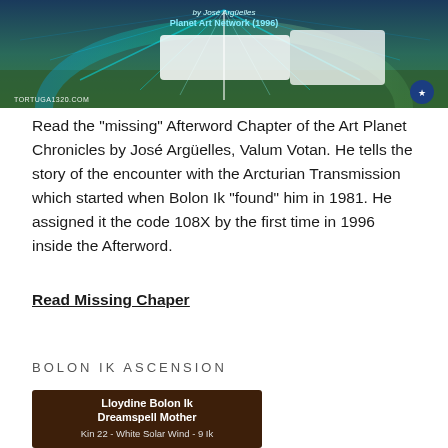[Figure (photo): Header image showing Planet Art Network 1996 by Jose Arguelles, featuring cosmic/digital artwork with lightning and rainbow colors, TORTUGA1320.COM watermark]
Read the "missing" Afterword Chapter of the Art Planet Chronicles by José Argüelles, Valum Votan. He tells the story of the encounter with the Arcturian Transmission which started when Bolon Ik "found" him in 1981. He assigned it the code 108X by the first time in 1996 inside the Afterword.
Read Missing Chaper
BOLON IK ASCENSION
[Figure (photo): Image showing Lloydine Bolon Ik, Dreamspell Mother, Kin 22 - White Solar Wind - 9 Ik, brown background with white text]